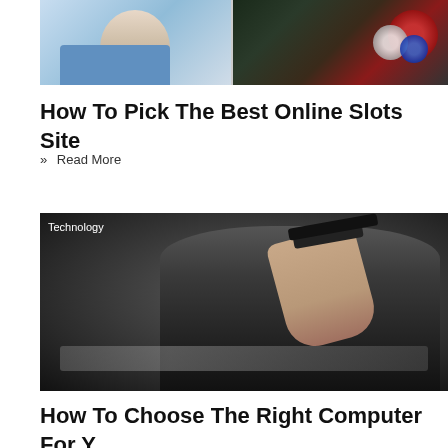[Figure (photo): Top image showing two photos side by side: person in blue shirt on left, casino chips and cards on right]
How To Pick The Best Online Slots Site
» Read More
[Figure (photo): Man adjusting glasses while looking at laptop screen, with Technology label overlay]
How To Choose The Right Computer For Y...